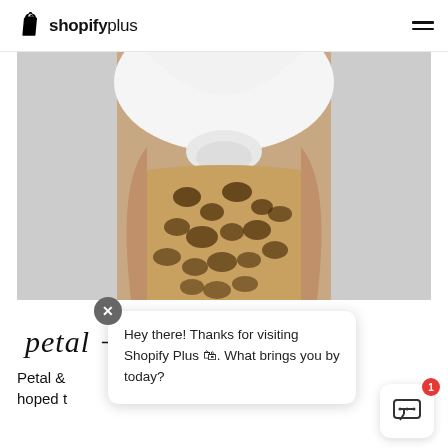shopifyplus
[Figure (photo): A person wearing a white knotted t-shirt and a leopard print maxi skirt, cropped at torso level, against a light grey background.]
[Figure (logo): Handwritten script logo reading 'petal + pup']
Petal & hoped t
Hey there! Thanks for visiting Shopify Plus 🛍. What brings you by today?